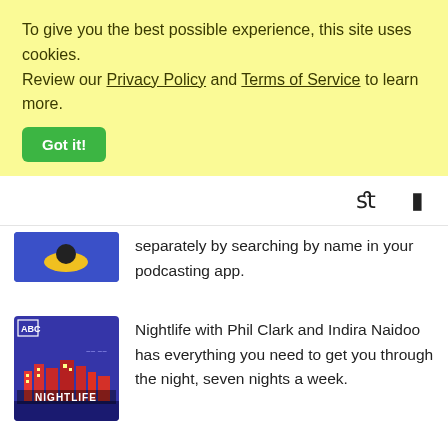To give you the best possible experience, this site uses cookies. Review our Privacy Policy and Terms of Service to learn more.
Got it!
[Figure (screenshot): Navigation bar with search and menu icons]
separately by searching by name in your podcasting app.
[Figure (photo): ABC Nightlife podcast cover art - dark blue background with city buildings and NIGHTLIFE text]
Nightlife with Phil Clark and Indira Naidoo has everything you need to get you through the night, seven nights a week.
[Figure (photo): ABC Big Ideas podcast cover art - partial view at bottom]
Big Ideas brings you the best of talks, forums,